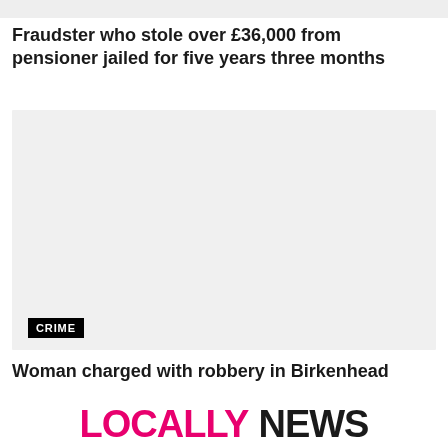[Figure (photo): Top strip image — cropped photo, mostly cut off at top]
Fraudster who stole over £36,000 from pensioner jailed for five years three months
[Figure (photo): Light grey placeholder image with a CRIME category badge in the lower left corner]
Woman charged with robbery in Birkenhead
LOCALLY NEWS